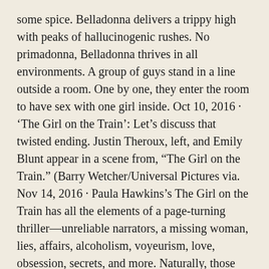some spice. Belladonna delivers a trippy high with peaks of hallucinogenic rushes. No primadonna, Belladonna thrives in all environments. A group of guys stand in a line outside a room. One by one, they enter the room to have sex with one girl inside. Oct 10, 2016 · ‘The Girl on the Train’: Let’s discuss that twisted ending. Justin Theroux, left, and Emily Blunt appear in a scene from, “The Girl on the Train.” (Barry Wetcher/Universal Pictures via. Nov 14, 2016 · Paula Hawkins’s The Girl on the Train has all the elements of a page-turning thriller—unreliable narrators, a missing woman, lies, affairs, alcoholism, voyeurism, love, obsession, secrets, and more. Naturally, those qualities made it a riveting cinematic experience when it hit theaters this fall, with Emily Blunt in the title role—but this is one story you want to see play out on the. There are 2 j girl train suppliers, mainly located in Asia. J girl train products are most popular in Western Europe, South Asia, and